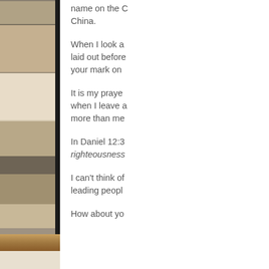[Figure (photo): Stacked books on a wooden shelf, close-up of book spines with a dark frame on the right side]
name on the China.
When I look a laid out before your mark on
It is my praye when I leave a more than me
In Daniel 12:3 righteousness
I can't think of leading peop
How about yo